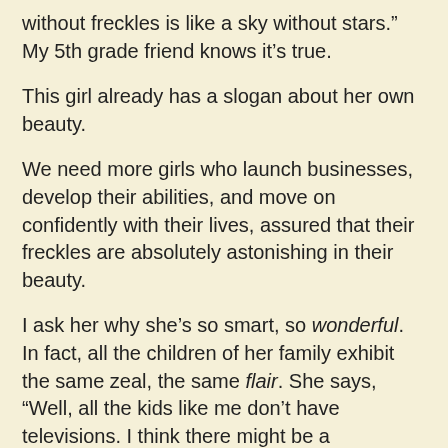without freckles is like a sky without stars.”  My 5th grade friend knows it’s true.
This girl already has a slogan about her own beauty.
We need more girls who launch businesses, develop their abilities, and move on confidently with their lives, assured that their freckles are absolutely astonishing in their beauty.
I ask her why she’s so smart, so wonderful. In fact, all the children of her family exhibit the same zeal, the same flair. She says, “Well, all the kids like me don’t have televisions. I think there might be a connection.”
And then we’re on to a new topic of how she might be able to train my cats to shake hands.  “It’s hard and will take a long time,” she says, “but it’s not impossible.”
Of course not.  Not for her.
Meanwhile, I usher my children outside.  The oldest one finds another caterpillar egg, and the youngest one prepares